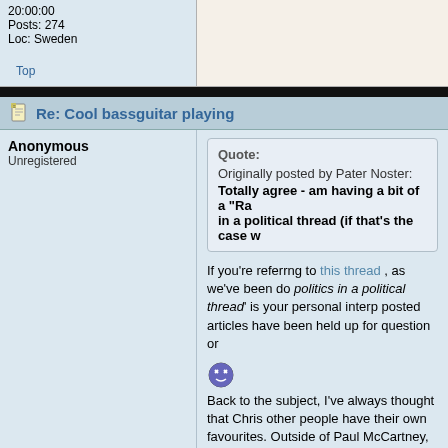20:00:00
Posts: 274
Loc: Sweden
Top
Re: Cool bassguitar playing
Anonymous
Unregistered
Quote:
Originally posted by Pater Noster:
Totally agree - am having a bit of a "Ra in a political thread (if that's the case w
If you're referrng to this thread , as we've been do politics in a political thread' is your personal interp posted articles have been held up for question or
[Figure (illustration): Dizzy/confused smiley face emoticon]
Back to the subject, I've always thought that Chris other people have their own favourites. Outside of Paul McCartney, Nathan East (everyone) and Den
[Figure (illustration): Happy/smiling yellow smiley face emoticon]
Regards,
Paul